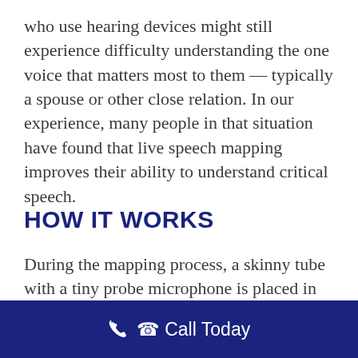who use hearing devices might still experience difficulty understanding the one voice that matters most to them — typically a spouse or other close relation. In our experience, many people in that situation have found that live speech mapping improves their ability to understand critical speech.
HOW IT WORKS
During the mapping process, a skinny tube with a tiny probe microphone is placed in your ear canal along with the hearing device — don't worry, it's painless! Your
Call Today